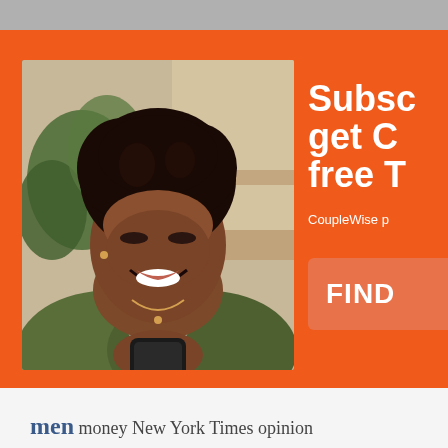[Figure (photo): A smiling young Black woman with natural curly hair looking down at her smartphone, wearing a green cardigan over a grey shirt, with a plant in the background. Orange promotional card overlay on a website.]
Subsc
get C
free T
CoupleWise p
FIND
men money New York Times opinion